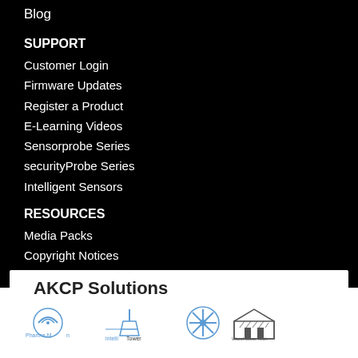Blog
SUPPORT
Customer Login
Firmware Updates
Register a Product
E-Learning Videos
Sensorprobe Series
securityProbe Series
Intelligent Sensors
RESOURCES
Media Packs
Copyright Notices
Product Catalog
Copyright 2021 | AKCP | All Rights Reserved.
AKCP Solutions
[Figure (logo): Four product logos: Pharma-Mon, intelliTower, snowflake icon, Warehouse Tech]